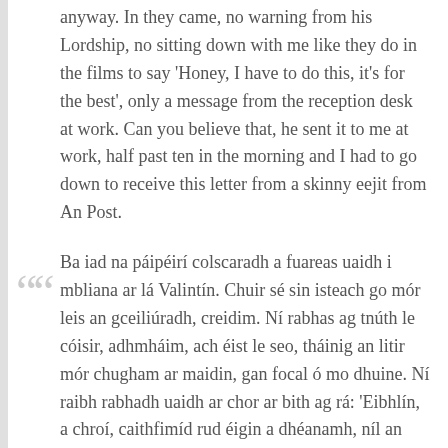anyway. In they came, no warning from his Lordship, no sitting down with me like they do in the films to say 'Honey, I have to do this, it's for the best', only a message from the reception desk at work. Can you believe that, he sent it to me at work, half past ten in the morning and I had to go down to receive this letter from a skinny eejit from An Post.
Ba iad na páipéirí colscaradh a fuareas uaidh i mbliana ar lá Valintín. Chuir sé sin isteach go mór leis an gceiliúradh, creidim. Ní rabhas ag tnúth le cóisir, adhmháim, ach éist le seo, tháinig an litir mór chugham ar maidin, gan focal ó mo dhuine. Ní raibh rabhadh uaidh ar chor ar bith ag rá: 'Eibhlín, a chroí, caithfimíd rud éigin a dhéanamh, níl an rogha againn.' Ní ná é, ach teachtaireacht ó rúnaí ag an